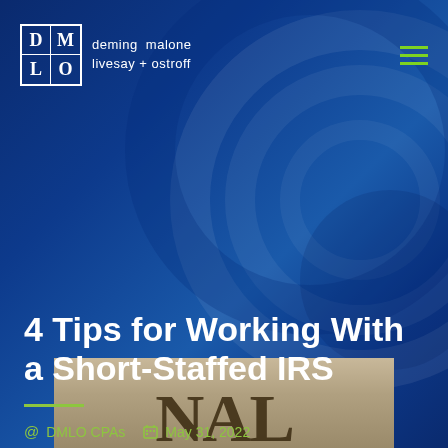DMLO — deming malone livesay + ostroff
4 Tips for Working With a Short-Staffed IRS
DMLO CPAs   May 31, 2022
[Figure (photo): Partial view of an IRS building sign showing letters 'NAL']